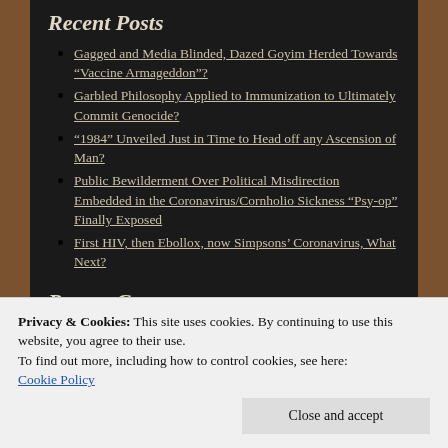Recent Posts
Gagged and Media Blinded, Dazed Goyim Herded Towards “Vaccine Armageddon”?
Garbled Philosophy Applied to Immunization to Ultimately Commit Genocide?
“1984” Unveiled Just in Time to Head off any Ascension of Man?
Public Bewilderment Over Political Misdirection Embedded in the Coronavirus/Cornholio Sickness “Psy-op” Finally Exposed
First HIV, then Ebollox, now Simpsons’ Coronavirus, What Next?
Recent Comments
Gagged and Media Bli… on When “Belief in the
Privacy & Cookies: This site uses cookies. By continuing to use this website, you agree to their use.
To find out more, including how to control cookies, see here: Cookie Policy
Close and accept
Gagged and Media Bli… on Totalitarian Brands: He